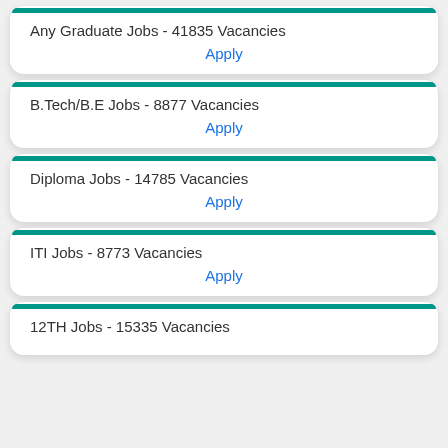Any Graduate Jobs - 41835 Vacancies
Apply
B.Tech/B.E Jobs - 8877 Vacancies
Apply
Diploma Jobs - 14785 Vacancies
Apply
ITI Jobs - 8773 Vacancies
Apply
12TH Jobs - 15335 Vacancies